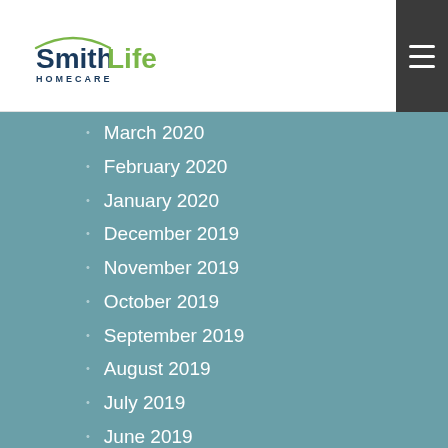SmithLife Homecare
March 2020
February 2020
January 2020
December 2019
November 2019
October 2019
September 2019
August 2019
July 2019
June 2019
May 2019
April 2019
March 2019